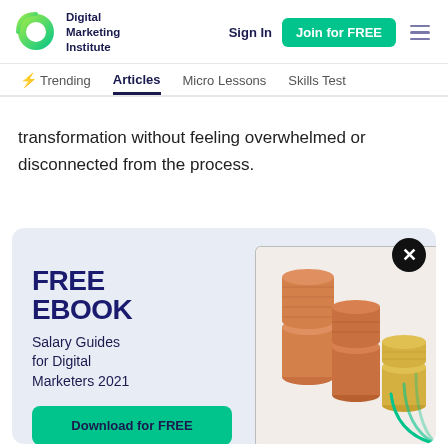Digital Marketing Institute — Sign In | Join for FREE
Trending | Articles | Micro Lessons | Skills Test
transformation without feeling overwhelmed or disconnected from the process.
[Figure (screenshot): Popup modal advertisement for a free ebook: 'FREE EBOOK — Salary Guides for Digital Marketers 2021' with a Download for FREE button and an image of stacked coins.]